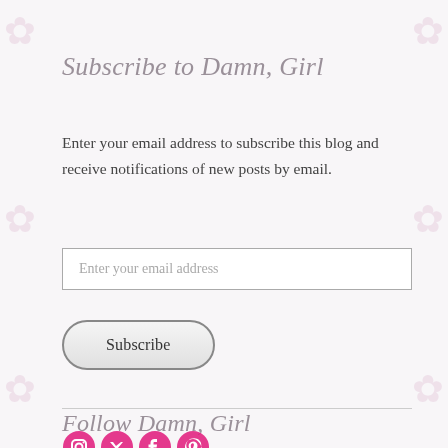Subscribe to Damn, Girl
Enter your email address to subscribe this blog and receive notifications of new posts by email.
[Figure (screenshot): Email input field with placeholder text 'Enter your email address']
[Figure (screenshot): Subscribe button with rounded pill shape]
Follow Damn, Girl
[Figure (screenshot): Row of social media icons (Instagram, Twitter/X, Facebook, Pinterest) in magenta/pink color]